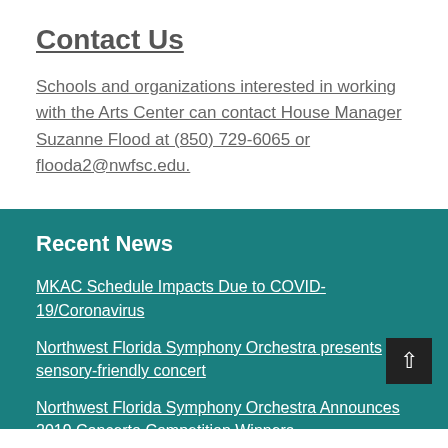Contact Us
Schools and organizations interested in working with the Arts Center can contact House Manager Suzanne Flood at (850) 729-6065 or flooda2@nwfsc.edu.
Recent News
MKAC Schedule Impacts Due to COVID-19/Coronavirus
Northwest Florida Symphony Orchestra presents sensory-friendly concert
Northwest Florida Symphony Orchestra Announces 2019 Concerto Competition Winners